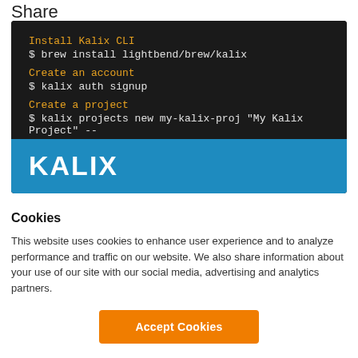Share
[Figure (screenshot): Screenshot of Kalix CLI terminal instructions and Kalix brand banner. Shows terminal commands: Install Kalix CLI, $ brew install lightbend/brew/kalix, Create an account, $ kalix auth signup, Create a project, $ kalix projects new my-kalix-proj "My Kalix Project" --. Below is a blue banner with the KALIX logo in white.]
Cookies
This website uses cookies to enhance user experience and to analyze performance and traffic on our website. We also share information about your use of our site with our social media, advertising and analytics partners.
Accept Cookies
Do Not Sell My Personal Information